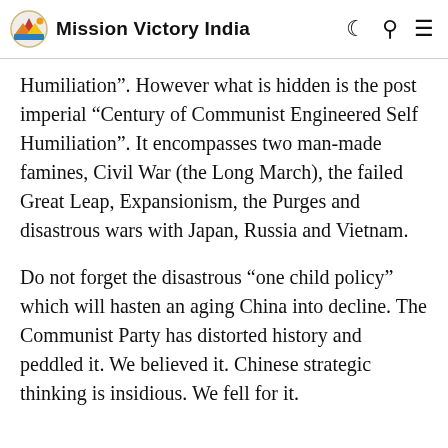Mission Victory India
Humiliation". However what is hidden is the post imperial “Century of Communist Engineered Self Humiliation". It encompasses two man-made famines, Civil War (the Long March), the failed Great Leap, Expansionism, the Purges and disastrous wars with Japan, Russia and Vietnam.
Do not forget the disastrous “one child policy” which will hasten an aging China into decline. The Communist Party has distorted history and peddled it. We believed it. Chinese strategic thinking is insidious. We fell for it.